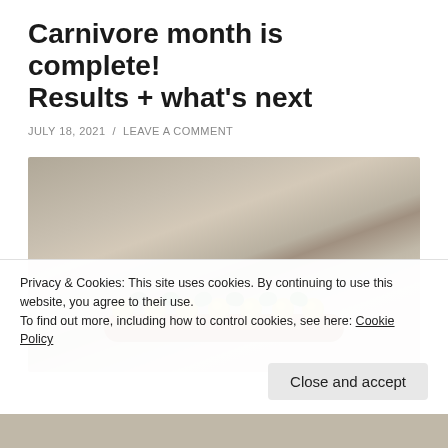Carnivore month is complete! Results + what's next
JULY 18, 2021  /  LEAVE A COMMENT
[Figure (photo): Close-up photo of a sausage or meat strip topped with yellow sauce dollops and fresh green herbs, placed on a linen cloth background.]
Privacy & Cookies: This site uses cookies. By continuing to use this website, you agree to their use.
To find out more, including how to control cookies, see here: Cookie Policy
Close and accept